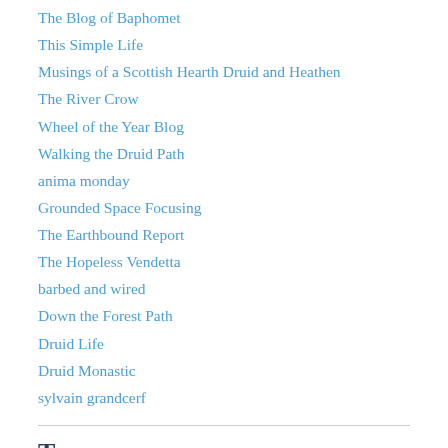The Blog of Baphomet
This Simple Life
Musings of a Scottish Hearth Druid and Heathen
The River Crow
Wheel of the Year Blog
Walking the Druid Path
anima monday
Grounded Space Focusing
The Earthbound Report
The Hopeless Vendetta
barbed and wired
Down the Forest Path
Druid Life
Druid Monastic
sylvain grandcerf
Tags
active imagination  Animism  At-Homeness  Awareness  Awen